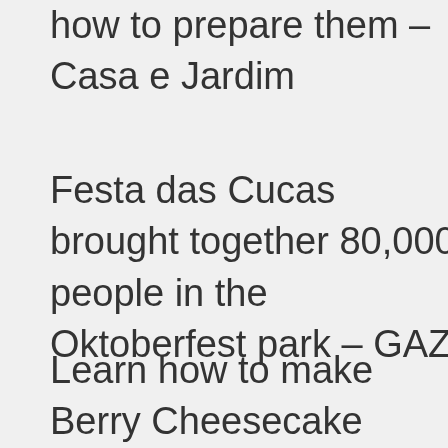how to prepare them – Casa e Jardim
Festa das Cucas brought together 80,000 people in the Oktoberfest park – GAZ
Learn how to make Berry Cheesecake Recipe at Chef JPB | J.P.B. Chef